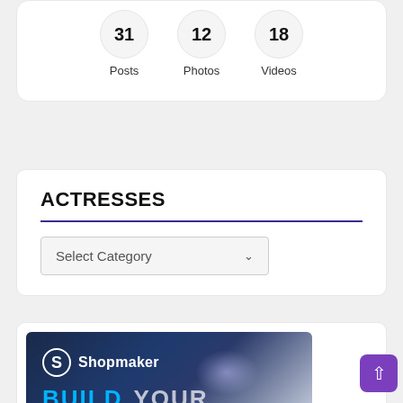[Figure (infographic): Three circular stat badges showing 31 Posts, 12 Photos, 18 Videos inside a white rounded card]
ACTRESSES
[Figure (screenshot): A Select Category dropdown UI element inside a white card]
[Figure (infographic): Shopmaker banner ad with logo and BUILD YOUR text at the bottom, dark blue gradient background]